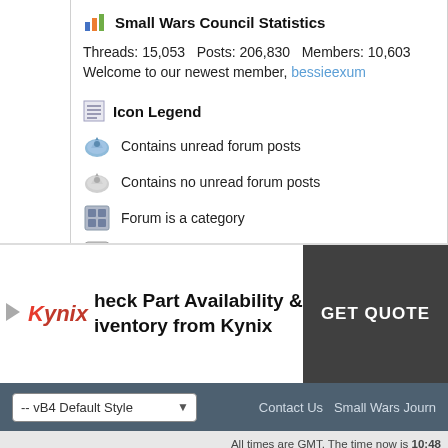Small Wars Council Statistics
Threads: 15,053  Posts: 206,830  Members: 10,603
Welcome to our newest member, bessieexum
Icon Legend
Contains unread forum posts
Contains no unread forum posts
Forum is a category
Forum is a Link
[Figure (infographic): Kynix advertisement: Check Part Availability & Inventory from Kynix, GET QUOTE button]
-- vB4 Default Style   Contact Us  Small Wars Journ
All times are GMT. The time now is 10:48
Powered by vBulletin® Version 4.2.5. ©2000 - 2022, Jel
Registered Users are solely responsible for their
Operated by, and site design © 2005-2009, Small W